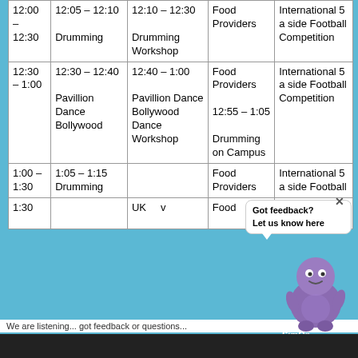| Time | Stage | Workshop Tent | Food & Drink | Sports |
| --- | --- | --- | --- | --- |
| 12:00 – 12:30 | 12:05 – 12:10
Drumming | 12:10 – 12:30
Drumming Workshop | Food Providers | International 5 a side Football Competition |
| 12:30 – 1:00 | 12:30 – 12:40
Pavillion Dance Bollywood | 12:40 – 1:00
Pavillion Dance Bollywood Dance Workshop | Food Providers
12:55 – 1:05
Drumming on Campus | International 5 a side Football Competition |
| 1:00 – 1:30 | 1:05 – 1:15
Drumming |  | Food Providers | International 5 a side Football... |
| 1:30 |  | UK v | Food | I... |
Got feedback? Let us know here
SimOn